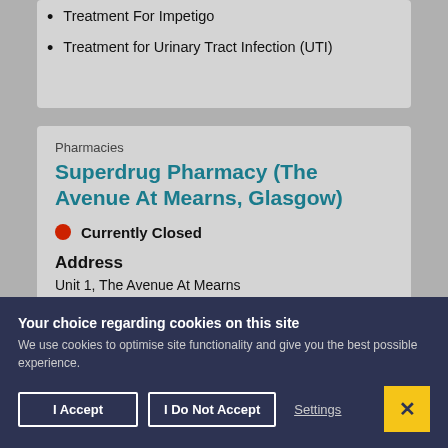Treatment For Impetigo
Treatment for Urinary Tract Infection (UTI)
Pharmacies
Superdrug Pharmacy (The Avenue At Mearns, Glasgow)
Currently Closed
Address
Unit 1, The Avenue At Mearns
Your choice regarding cookies on this site
We use cookies to optimise site functionality and give you the best possible experience.
I Accept
I Do Not Accept
Settings